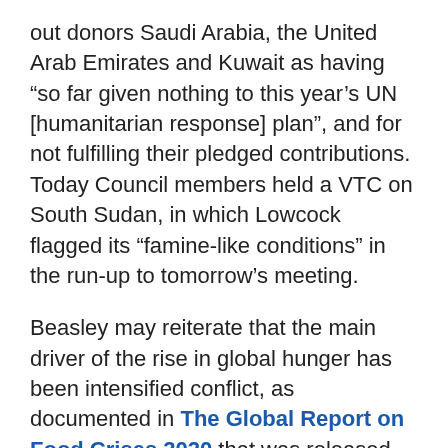out donors Saudi Arabia, the United Arab Emirates and Kuwait as having “so far given nothing to this year’s UN [humanitarian response] plan”, and for not fulfilling their pledged contributions. Today Council members held a VTC on South Sudan, in which Lowcock flagged its “famine-like conditions” in the run-up to tomorrow’s meeting.
Beasley may reiterate that the main driver of the rise in global hunger has been intensified conflict, as documented in The Global Report on Food Crises 2020 that was released earlier this year. As Beasley has underscored in recent months, the COVID-19 pandemic is making the situation worse, with its disruption to economies, trade and supply lines. In April, he told Council members at a briefing on the protection of civilians from conflict-induced hunger that the pandemic threatened to almost double by the year’s end those facing crisis levels of hunger or worse—from 135 million people in 55 countries to 265 million. At